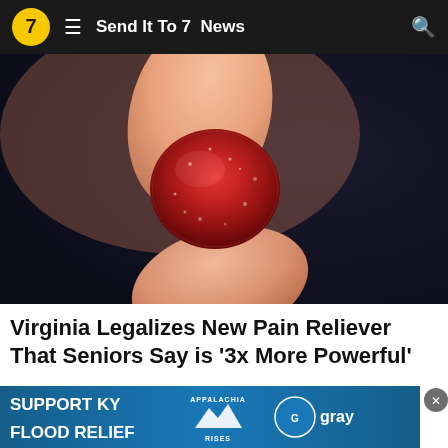Send It To 7  News
[Figure (photo): Close-up photo of a hand holding a small round red sugar-coated gummy candy against a dark background]
Virginia Legalizes New Pain Reliever That Seniors Say is ‘3x More Powerful’
Health Headlines | Sponsored
[Figure (infographic): Advertisement banner: SUPPORT KY FLOOD RELIEF with Appalachia Rises and Gray logos]